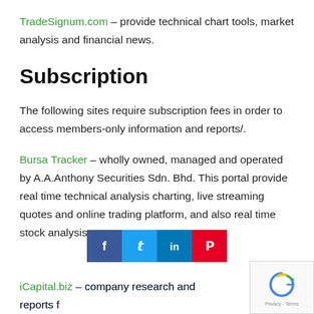TradeSignum.com – provide technical chart tools, market analysis and financial news.
Subscription
The following sites require subscription fees in order to access members-only information and reports/.
Bursa Tracker – wholly owned, managed and operated by A.A.Anthony Securities Sdn. Bhd. This portal provide real time technical analysis charting, live streaming quotes and online trading platform, and also real time stock analysis.
[Figure (other): Social share buttons: Facebook, Twitter, LinkedIn, Pinterest]
iCapital.biz – company research and reports for...